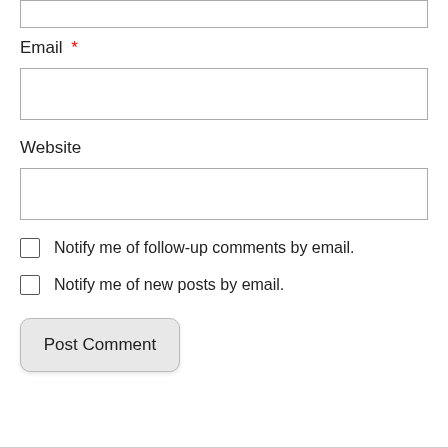[Figure (screenshot): Top partial input box (cropped at top of page)]
Email *
[Figure (screenshot): Email text input field (empty)]
Website
[Figure (screenshot): Website text input field (empty)]
Notify me of follow-up comments by email.
Notify me of new posts by email.
Post Comment